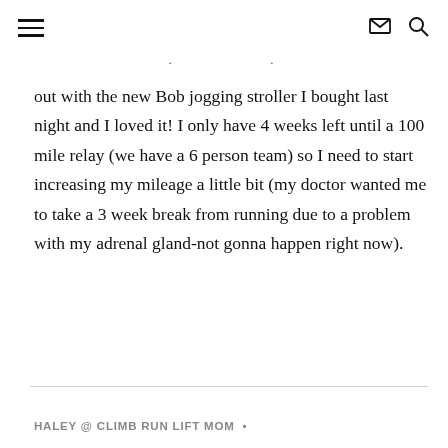[hamburger menu icon] [envelope icon] [search icon]
out with the new Bob jogging stroller I bought last night and I loved it! I only have 4 weeks left until a 100 mile relay (we have a 6 person team) so I need to start increasing my mileage a little bit (my doctor wanted me to take a 3 week break from running due to a problem with my adrenal gland-not gonna happen right now).
HALEY @ CLIMB RUN LIFT MOM •
APRIL 15, 2011 AT 10:27 AM • REPLY